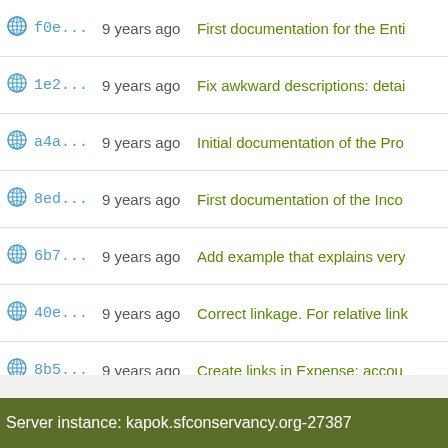| icon | hash | age | message |
| --- | --- | --- | --- |
| globe | f0e... | 9 years ago | First documentation for the Enti |
| globe | 1e2... | 9 years ago | Fix awkward descriptions: detai |
| globe | a4a... | 9 years ago | Initial documentation of the Pro |
| globe | 8ed... | 9 years ago | First documentation of the Inco |
| globe | 6b7... | 9 years ago | Add example that explains very |
| globe | 40e... | 9 years ago | Correct linkage. For relative link |
| globe | 8b5... | 9 years ago | Create links in Expense: accou |
| globe | 633... | 9 years ago | Initial documentation of Statem |
| globe | c9f... | 9 years ago | Initial documentation of the Invo |
| globe | 68d... | 9 years ago | Documentation of Receipt: tag |
| globe | 8f1... | 9 years ago | Initial documentation for Expen |
| globe | 010... | 9 years ago | Beginning of general descriptio |
| globe | 38c... | 9 years ago | Finished chart of accounts sect |
| globe | 0ac... | 9 years ago | Beginnings of draft of NPO Led |
Server instance: kapok.sfconservancy.org-27387